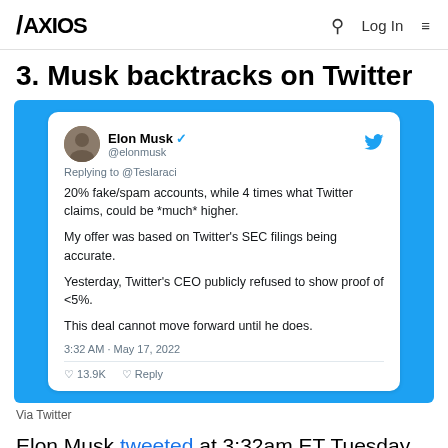AXIOS  Q  Log In  ≡
3. Musk backtracks on Twitter
[Figure (screenshot): Screenshot of Elon Musk tweet on a blue background: '@elonmusk Replying to @Teslaradi: 20% fake/spam accounts, while 4 times what Twitter claims, could be *much* higher. My offer was based on Twitter's SEC filings being accurate. Yesterday, Twitter's CEO publicly refused to show proof of <5%. This deal cannot move forward until he does. 3:32 AM · May 17, 2022 · 13.9K · Reply']
Via Twitter
Elon Musk tweeted at 3:32am ET Tuesday that his bid to buy Twitter "cannot move forward"